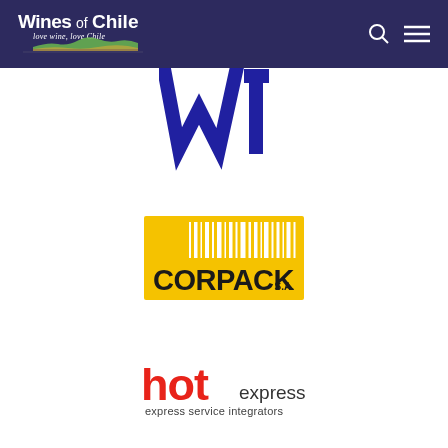Wines of Chile — love wine, love Chile
[Figure (logo): Partial blue 'W1' or 'WI' logo mark in dark navy/blue, partially cropped at top]
[Figure (logo): CORPACK S.A. logo: yellow rectangle background with white barcode-style vertical stripes and black bold text 'CORPACK' with small 'S.A.' to the right]
[Figure (logo): hot express logo: red bold lowercase 'hot' with smaller black 'express' text inline, and tagline 'express service integrators' below]